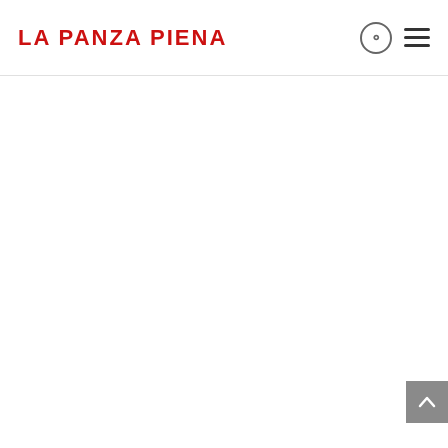LA PANZA PIENA
[Figure (other): Back to top button (chevron up arrow) in grey square, positioned at bottom right corner]